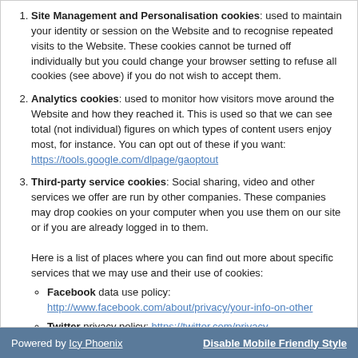Site Management and Personalisation cookies: used to maintain your identity or session on the Website and to recognise repeated visits to the Website. These cookies cannot be turned off individually but you could change your browser setting to refuse all cookies (see above) if you do not wish to accept them.
Analytics cookies: used to monitor how visitors move around the Website and how they reached it. This is used so that we can see total (not individual) figures on which types of content users enjoy most, for instance. You can opt out of these if you want: https://tools.google.com/dlpage/gaoptout
Third-party service cookies: Social sharing, video and other services we offer are run by other companies. These companies may drop cookies on your computer when you use them on our site or if you are already logged in to them. Here is a list of places where you can find out more about specific services that we may use and their use of cookies: Facebook data use policy: http://www.facebook.com/about/privacy/your-info-on-other, Twitter privacy policy: https://twitter.com/privacy, Google And YouTube cookie policy: http://www.google.com/intl/en/policies/privacy/faq/#toc-cookies (Google standard terms).
Powered by Icy Phoenix    Disable Mobile Friendly Style